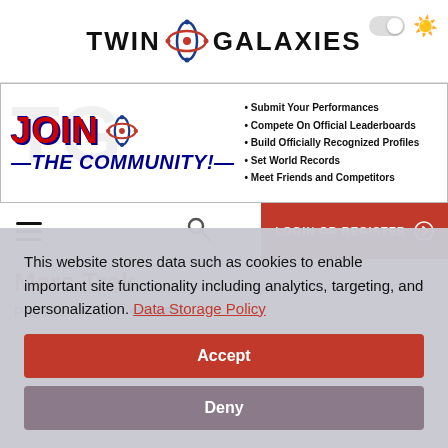Twin Galaxies
[Figure (infographic): Twin Galaxies 'Join the Community' banner ad with JOIN TG logo and bullet points: Submit Your Performances, Compete On Official Leaderboards, Build Officially Recognized Profiles, Set World Records, Meet Friends and Competitors]
LOGIN OR REGISTER
Mars Trek
Platform  Pinball
This website stores data such as cookies to enable important site functionality including analytics, targeting, and personalization. Data Storage Policy
Accept
Deny